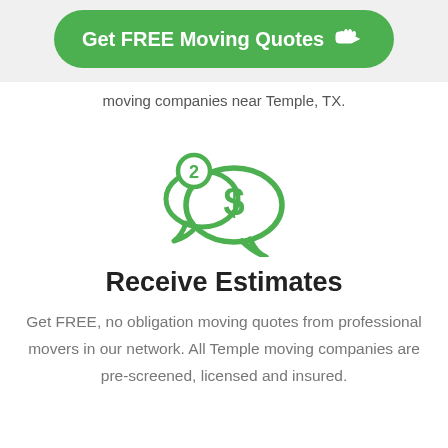Get FREE Moving Quotes
moving companies near Temple, TX.
[Figure (illustration): Green icon of two speech bubbles with a dollar sign in the larger one and the number 2 in a small circle badge on the smaller bubble]
Receive Estimates
Get FREE, no obligation moving quotes from professional movers in our network. All Temple moving companies are pre-screened, licensed and insured.